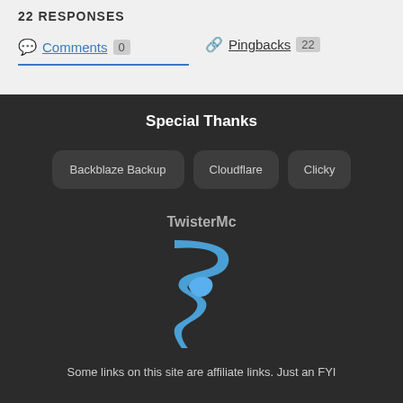22 RESPONSES
Comments 0   Pingbacks 22
Special Thanks
Backblaze Backup   Cloudflare   Clicky
TwisterMc
[Figure (logo): TwisterMc logo: a blue stylized tornado/twister shape]
Some links on this site are affiliate links. Just an FYI